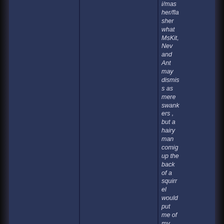i/masher/flasher what MsKit, Nev and Ant may dismiss as mere swankers , but a hairy man comig up the back of a squirrel would put me of my bender reassignment bong too.

Amy the toad rice sup to meet